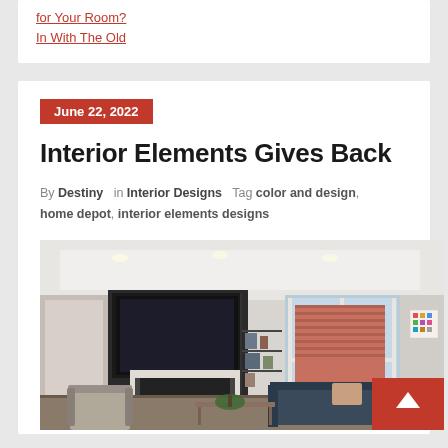for Your Room?
In With The Old
June 22, 2022
Interior Elements Gives Back
By Destiny  in Interior Designs  Tag color and design, home depot, interior elements designs
[Figure (photo): Interior living room photo showing a modern space with fireplace, built-in shelving with TV, large windows overlooking a brick building, sofa, armchair, and a color swatch artwork on the wall.]